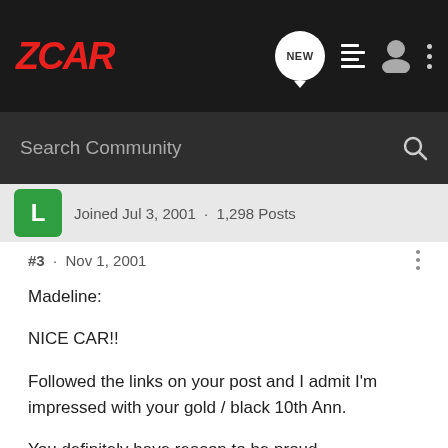ZCAR
Search Community
Joined Jul 3, 2001 · 1,298 Posts
#3 · Nov 1, 2001
Madeline:

NICE CAR!!

Followed the links on your post and I admit I'm impressed with your gold / black 10th Ann.

You definitely have reason to be proud.

Enrique Scanlon